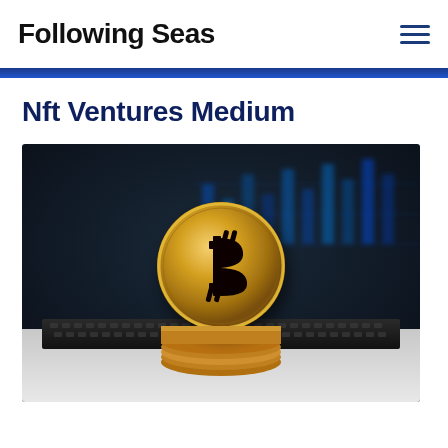Following Seas
Nft Ventures Medium
[Figure (photo): A gold Bitcoin coin standing upright on a laptop keyboard, with a blurred dark background showing blue financial chart data on a screen]